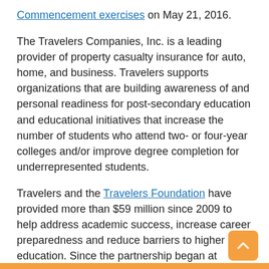Commencement exercises on May 21, 2016.
The Travelers Companies, Inc. is a leading provider of property casualty insurance for auto, home, and business. Travelers supports organizations that are building awareness of and personal readiness for post-secondary education and educational initiatives that increase the number of students who attend two- or four-year colleges and/or improve degree completion for underrepresented students.
Travelers and the Travelers Foundation have provided more than $59 million since 2009 to help address academic success, increase career preparedness and reduce barriers to higher education. Since the partnership began at Morgan in 2008, the University has received a total of $3.4 million from The Travelers Foundation to provide educational opportunities for college and high school students. Travelers has established EDGE program partnerships in Connecticut, Minnesota, and Maryland.